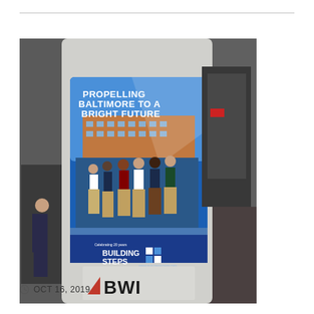[Figure (photo): Photo of an airport (BWI) column with a 'Building Steps' advertisement poster showing the text 'PROPELLING BALTIMORE TO A BRIGHT FUTURE' and a group of young people standing in front of a brick building. The column also displays the BWI logo at the bottom.]
OCT 16, 2019